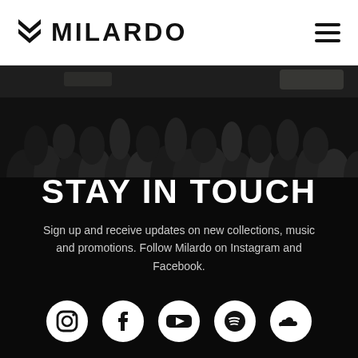MILARDO
[Figure (photo): Dark crowd/audience photo used as background image behind 'Stay In Touch' section]
STAY IN TOUCH
Sign up and receive updates on new collections, music and promotions. Follow Milardo on Instagram and Facebook.
[Figure (infographic): Row of social media icons: Instagram, Facebook, YouTube, Spotify, SoundCloud — white circular icons on black background]